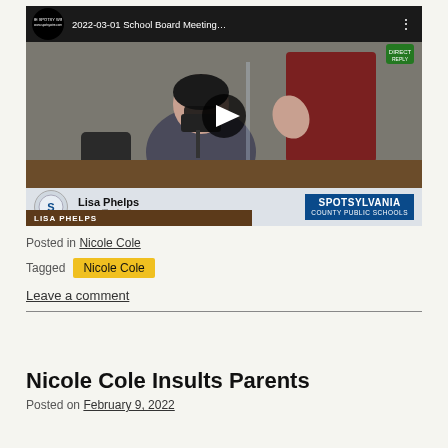[Figure (screenshot): Video thumbnail of a school board meeting dated 2022-03-01. Shows a woman identified as Lisa Phelps, Lee Hill District, at a Spotsylvania County Public Schools board meeting. The video has a play button overlay and shows the channel logo for The Spotsy Wire.]
Posted in Nicole Cole
Tagged Nicole Cole
Leave a comment
Nicole Cole Insults Parents
Posted on February 9, 2022